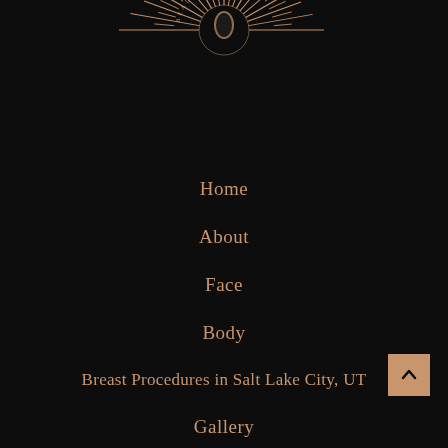[Figure (logo): Circular sunburst logo with radiating lines and text 'BEAUTY' along the arc, on black background, in gold/tan color]
Home
About
Face
Body
Breast Procedures in Salt Lake City, UT
Gallery